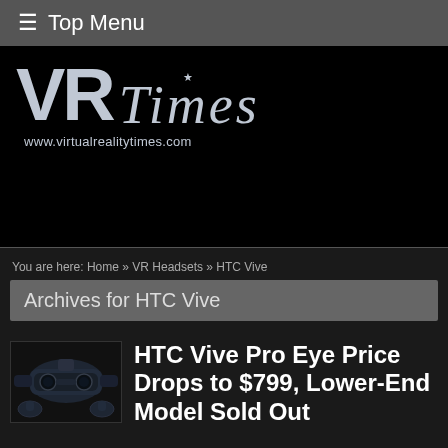≡ Top Menu
[Figure (logo): VR Times logo with white stylized VR lettering and blackletter Times text, www.virtualrealitytimes.com URL below]
You are here: Home » VR Headsets » HTC Vive
Archives for HTC Vive
[Figure (photo): HTC Vive Pro Eye VR headset with controllers thumbnail]
HTC Vive Pro Eye Price Drops to $799, Lower-End Model Sold Out